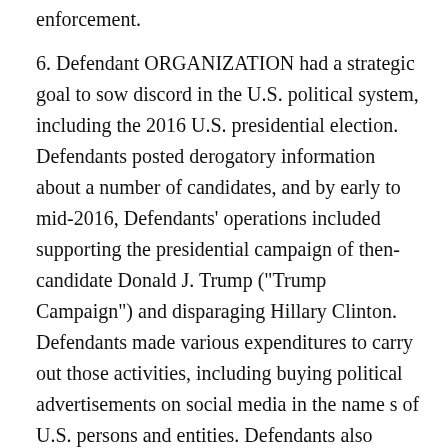enforcement.
6. Defendant ORGANIZATION had a strategic goal to sow discord in the U.S. political system, including the 2016 U.S. presidential election. Defendants posted derogatory information about a number of candidates, and by early to mid-2016, Defendants' operations included supporting the presidential campaign of then-candidate Donald J. Trump ("Trump Campaign") and disparaging Hillary Clinton. Defendants made various expenditures to carry out those activities, including buying political advertisements on social media in the name s of U.S. persons and entities. Defendants also staged political rallies inside the United States, and while posing as U.S. grassroots